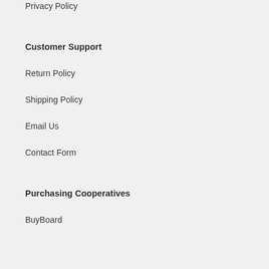Privacy Policy
Customer Support
Return Policy
Shipping Policy
Email Us
Contact Form
Purchasing Cooperatives
BuyBoard